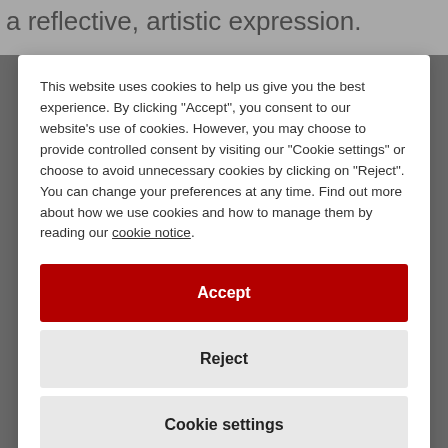a reflective, artistic expression.
This website uses cookies to help us give you the best experience. By clicking "Accept", you consent to our website's use of cookies. However, you may choose to provide controlled consent by visiting our "Cookie settings" or choose to avoid unnecessary cookies by clicking on "Reject". You can change your preferences at any time. Find out more about how we use cookies and how to manage them by reading our cookie notice.
Accept
Reject
Cookie settings